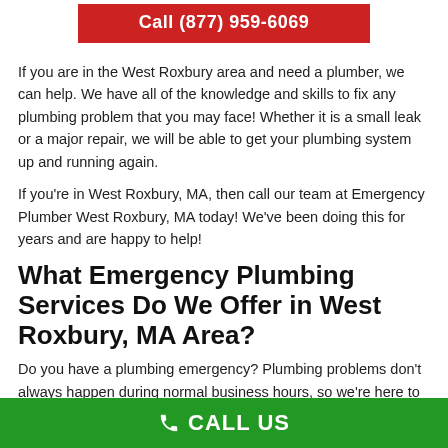[Figure (other): Red button with white bold text: Call (877) 959-6069]
If you are in the West Roxbury area and need a plumber, we can help. We have all of the knowledge and skills to fix any plumbing problem that you may face! Whether it is a small leak or a major repair, we will be able to get your plumbing system up and running again.
If you're in West Roxbury, MA, then call our team at Emergency Plumber West Roxbury, MA today! We've been doing this for years and are happy to help!
What Emergency Plumbing Services Do We Offer in West Roxbury, MA Area?
Do you have a plumbing emergency? Plumbing problems don't always happen during normal business hours, so we're here to
📞 CALL US